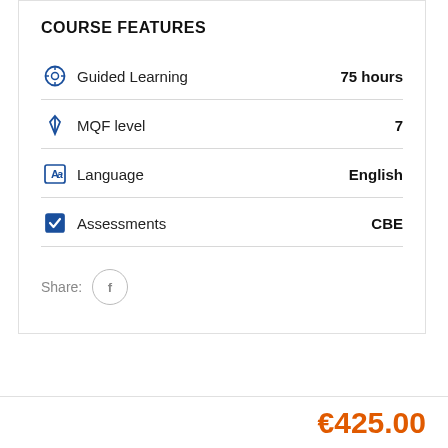COURSE FEATURES
Guided Learning  75 hours
MQF level  7
Language  English
Assessments  CBE
Share:
€425.00